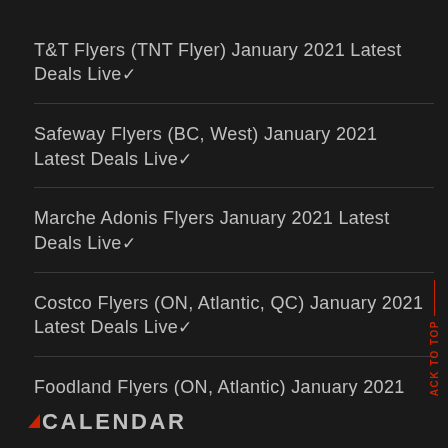T&T Flyers (TNT Flyer) January 2021 Latest Deals Live✓
Safeway Flyers (BC, West) January 2021 Latest Deals Live✓
Marche Adonis Flyers January 2021 Latest Deals Live✓
Costco Flyers (ON, Atlantic, QC) January 2021 Latest Deals Live✓
Foodland Flyers (ON, Atlantic) January 2021 Blockbuster Deals ✓
CALENDAR